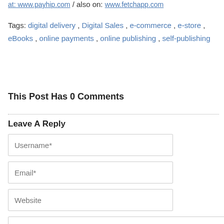at: www.payhip.com / also on: www.fetchapp.com
Tags: digital delivery , Digital Sales , e-commerce , e-store , eBooks , online payments , online publishing , self-publishing
This Post Has 0 Comments
Leave A Reply
Username*
Email*
Website